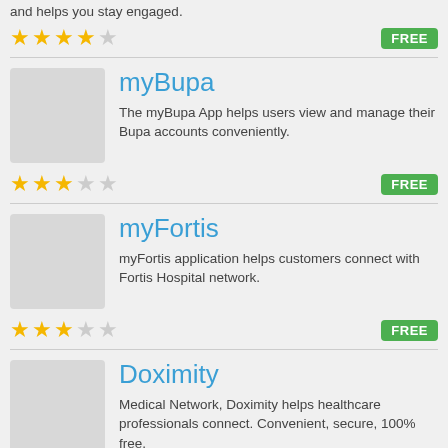and helps you stay engaged.
★★★★☆ FREE
myBupa
The myBupa App helps users view and manage their Bupa accounts conveniently.
★★★☆☆ FREE
myFortis
myFortis application helps customers connect with Fortis Hospital network.
★★★☆☆ FREE
Doximity
Medical Network, Doximity helps healthcare professionals connect. Convenient, secure, 100% free.